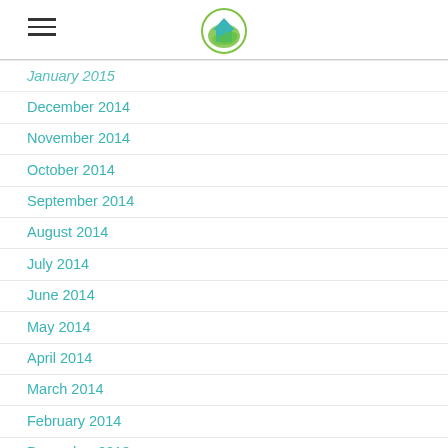[hamburger menu icon] [logo]
January 2015
December 2014
November 2014
October 2014
September 2014
August 2014
July 2014
June 2014
May 2014
April 2014
March 2014
February 2014
December 2013
November 2013
October 2013
September 2013
August 2013
July 2013